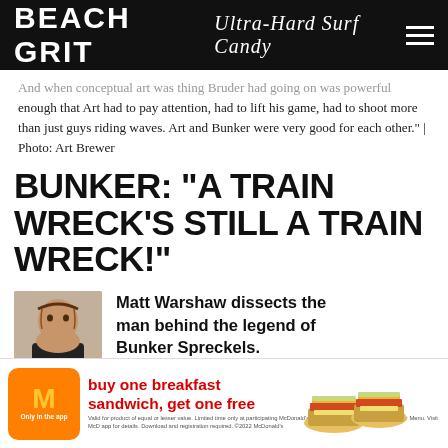BEACH GRIT Ultra-Hard Surf Candy
And when conceptual art was thing Bruder had going on was powerful enough that Art had to pay attention, had to lift his game, had to shoot more than just guys riding waves. Art and Bunker were very good for each other." | Photo: Art Brewer
BUNKER: “A TRAIN WRECK’S STILL A TRAIN WRECK!"
Matt Warshaw dissects the man behind the legend of Bunker Spreckels.
By Derek Rielly
[Figure (photo): Headshot photo of a smiling man with dark hair and beard]
[Figure (infographic): McDonald's advertisement: buy one breakfast sandwich, get one free. Only in the app. Shows two breakfast sandwiches.]